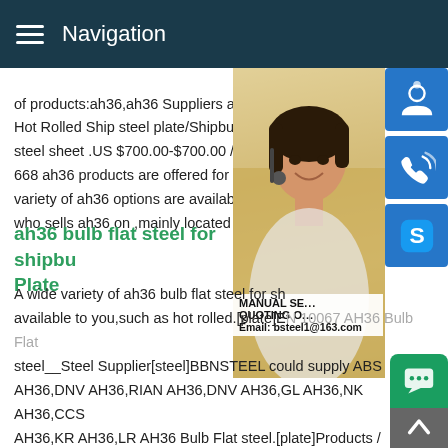Navigation
of products:ah36,ah36 Suppliers and Man Hot Rolled Ship steel plate/Shipbuilding St steel sheet .US $700.00-$700.00 / Ton Ab 668 ah36 products are offered for sale by variety of ah36 options are available to yo who sells ah36 on ,mainly located in Asia
[Figure (photo): Customer service representative with headset, alongside blue icon buttons for chat/phone/Skype]
ah36 bulb flat steel for shipbu Plate
A wide variety of ah36 bulb flat steel for sh available to you,such as hot rolled.[plate]EN 10067 AH36 Bulb Flat steel__Steel Supplier[steel]BBNSTEEL could supply ABS AH36,DNV AH36,RIAN AH36,DNV AH36,GL AH36,NK AH36,CCS AH36,KR AH36,LR AH36 Bulb Flat steel.[plate]Products / Shipbuilding Steel Profile / Bulb Flat SteelSteel Plate Sheet A36,AH36,DH36,S235J0,16Mo3 ,SM570 Steel Plate Sheet